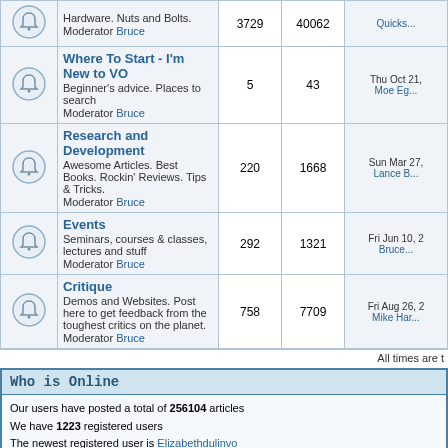|  | Forum | Topics | Posts | Last Post |
| --- | --- | --- | --- | --- |
| [icon] | Hardware. Nuts and Bolts.
Moderator Bruce | 3729 | 40062 | Quicks... |
| [icon] | Where To Start - I'm New to VO
Beginner's advice. Places to search
Moderator Bruce | 5 | 43 | Thu Oct 21,
Moe Eg... |
| [icon] | Research and Development
Awesome Articles. Best Books. Rockin' Reviews. Tips & Tricks.
Moderator Bruce | 220 | 1668 | Sun Mar 27,
Lance B... |
| [icon] | Events
Seminars, courses & classes, lectures and stuff
Moderator Bruce | 292 | 1321 | Fri Jun 10, 2
Bruce... |
| [icon] | Critique
Demos and Websites. Post here to get feedback from the toughest critics on the planet.
Moderator Bruce | 758 | 7709 | Fri Aug 26, 2
Mike Har... |
All times are t
Who is Online
Our users have posted a total of 256104 articles
We have 1223 registered users
The newest registered user is Elizabethdulinvo
In total there are 25 users online :: 1 Registered, 0 Hidden and 24 Guests   [ Administrator ]  [
Most users ever online was 341 on Sun Nov 10, 2013 1:26 am
Registered Users: Mark Farrell
This data is based on users active over the past five minutes
Log in
Username:   Password:   Log me on automatically eas